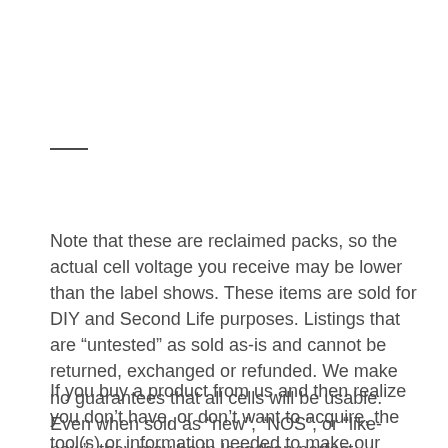—
Note that these are reclaimed packs, so the actual cell voltage you receive may be lower than the label shows. These items are sold for DIY and Second Life purposes. Listings that are “untested” as sold as-is and cannot be returned, exchanged or refunded. We make no guarantees that all cells will be usable. Even when sold as “new”, “NOS”, or “like-new”, they may be in less than perfect condition. Buyer is responsible for proper cell recycling/disposal. Sold as-is. No refunds.
If you buy a product from us and then realize you don’t have, or don’t want to acquire, the tool(s) or information needed to make our product(s) work for